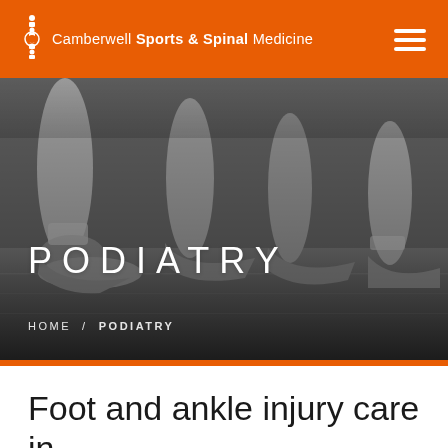Camberwell Sports & Spinal Medicine
[Figure (photo): Black and white photo of ballet dancers' feet wearing ballet shoes on a wooden floor, with the word PODIATRY overlaid in large white letters, and a breadcrumb navigation showing HOME / PODIATRY]
Foot and ankle injury care in Camberwell